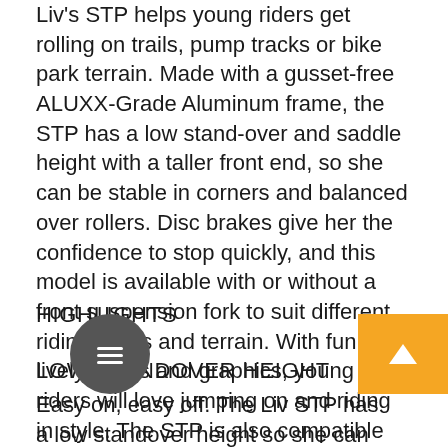Liv's STP helps young riders get rolling on trails, pump tracks or bike park terrain. Made with a gusset-free ALUXX-Grade Aluminum frame, the STP has a low stand-over and saddle height with a taller front end, so she can be stable in corners and balanced over rollers. Disc brakes give her the confidence to stop quickly, and this model is available with or without a front suspension fork to suit different riding styles and terrain. With fun and lively colors and graphics, young riders will love jumping on and riding in style. The STP is also compatible with dropper seatposts for those riders who are ready for next steps.
HIGHLIGHTS
LOW STANDOVER HEIGHT
Easy on, easy off. The Liv STP has a low standover height so she can be safe and comfortable when mounting or dismounting